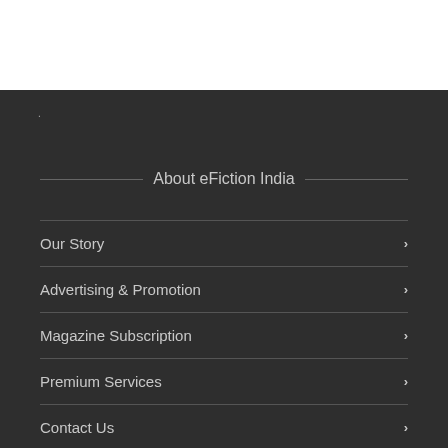About eFiction India
Our Story
Advertising & Promotion
Magazine Subscription
Premium Services
Contact Us